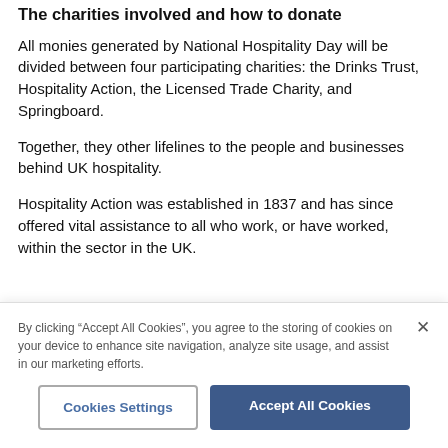The charities involved and how to donate
All monies generated by National Hospitality Day will be divided between four participating charities: the Drinks Trust, Hospitality Action, the Licensed Trade Charity, and Springboard.
Together, they other lifelines to the people and businesses behind UK hospitality.
Hospitality Action was established in 1837 and has since offered vital assistance to all who work, or have worked, within the sector in the UK.
By clicking “Accept All Cookies”, you agree to the storing of cookies on your device to enhance site navigation, analyze site usage, and assist in our marketing efforts.
Cookies Settings
Accept All Cookies